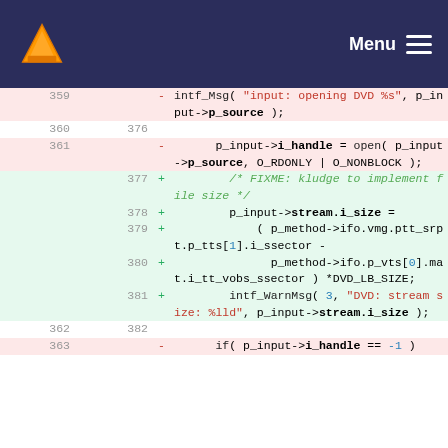VLC media player — Menu
[Figure (screenshot): Code diff view showing VLC source code changes around lines 359-363 / 376-382, including DVD input handle opening and stream size calculation.]